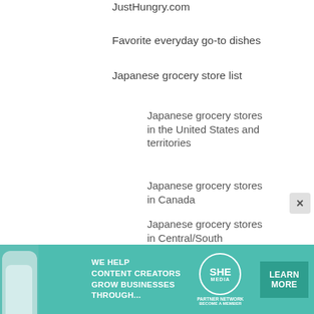JustHungry.com
Favorite everyday go-to dishes
Japanese grocery store list
Japanese grocery stores in the United States and territories
Japanese grocery stores in Canada
Japanese grocery stores in Central/South
grocery stores in Germany
[Figure (infographic): Advertisement banner for SHE Media Partner Network. Teal background with text 'We help content creators grow businesses through...' and logo, with a Learn More button.]